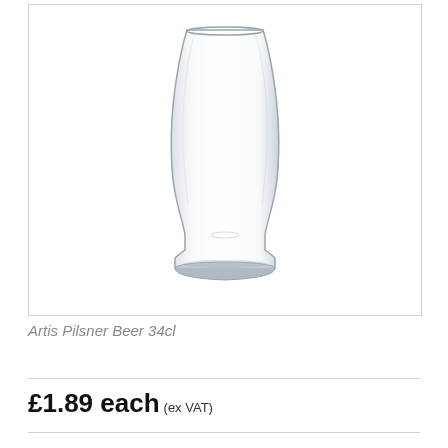[Figure (photo): A tall clear pilsner beer glass with a wide flared rim tapering to a narrow waist and then widening slightly at the base. The glass is empty and photographed on a white background.]
Artis Pilsner Beer 34cl
£1.89 each (ex VAT)